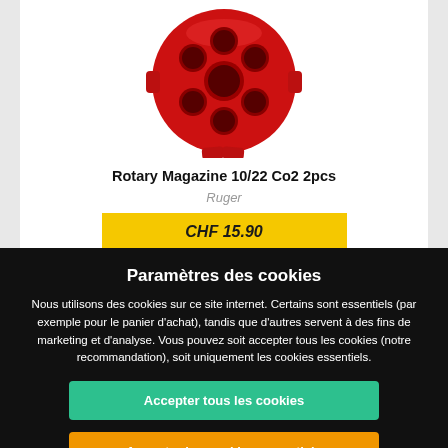[Figure (photo): Red rotary magazine component, cylindrical shape with multiple holes, plastic, viewed from front angle]
Rotary Magazine 10/22 Co2 2pcs
Ruger
CHF 15.90
en stock
Paramètres des cookies
Nous utilisons des cookies sur ce site internet. Certains sont essentiels (par exemple pour le panier d'achat), tandis que d'autres servent à des fins de marketing et d'analyse. Vous pouvez soit accepter tous les cookies (notre recommandation), soit uniquement les cookies essentiels.
Accepter tous les cookies
Accepter les cookies essentiels
Refuser les cookies